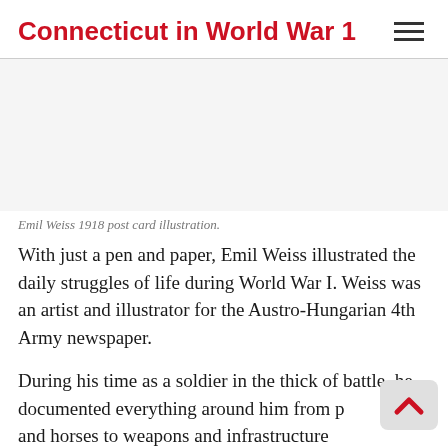Connecticut in World War 1
[Figure (photo): Empty image placeholder area for Emil Weiss 1918 post card illustration]
Emil Weiss 1918 post card illustration.
With just a pen and paper, Emil Weiss illustrated the daily struggles of life during World War I. Weiss was an artist and illustrator for the Austro-Hungarian 4th Army newspaper.
During his time as a soldier in the thick of battle, he documented everything around him from people and horses to weapons and infrastructure